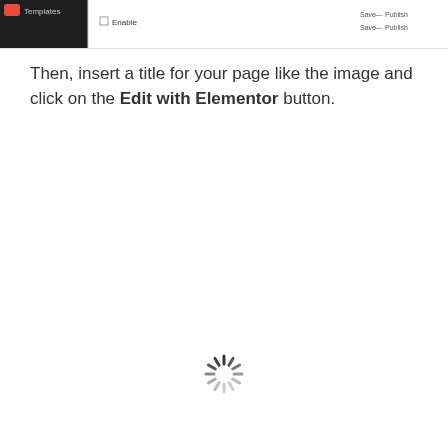[Figure (screenshot): Partial screenshot of a WordPress admin interface showing a Templates menu item and a page title field with a Publish button area at the top right.]
Then, insert a title for your page like the image and click on the Edit with Elementor button.
[Figure (other): A circular loading spinner icon in the center-bottom area of the page.]